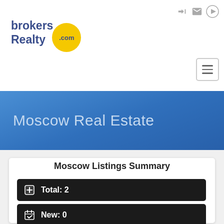[Figure (logo): brokersRealty.com logo with blue text and yellow circle]
Moscow Real Estate
Moscow Listings Summary
Total: 2
New: 0